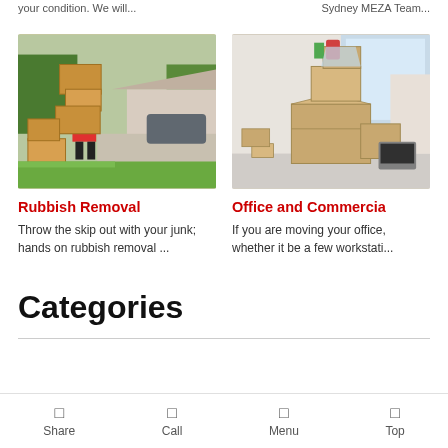your condition. We will...
Sydney MEZA Team...
[Figure (photo): Person carrying large cardboard boxes outdoors in a residential area]
Rubbish Removal
Throw the skip out with your junk; hands on rubbish removal ...
[Figure (photo): Office space with multiple open cardboard boxes and moving equipment]
Office and Commercia
If you are moving your office, whether it be a few workstati...
Categories
Share  Call  Menu  Top